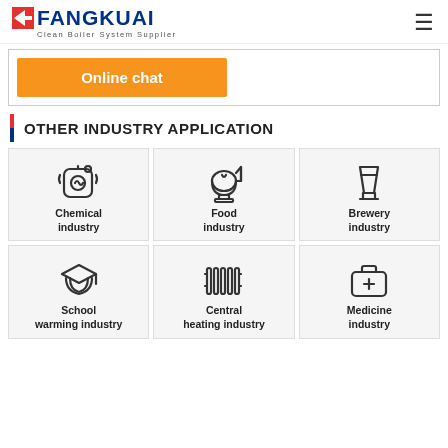FANGKUAI Clean Boiler System Supplier
[Figure (screenshot): Online chat button (orange) within a bordered section]
OTHER INDUSTRY APPLICATION
[Figure (illustration): Chemical industry icon - boiler/flask with flame]
Chemical industry
[Figure (illustration): Food industry icon - stand mixer]
Food industry
[Figure (illustration): Brewery industry icon - wine glass shape]
Brewery industry
[Figure (illustration): School warming industry icon - graduation cap with layers]
School warming industry
[Figure (illustration): Central heating industry icon - radiator/coil]
Central heating industry
[Figure (illustration): Medicine industry icon - first aid kit/briefcase with plus]
Medicine industry